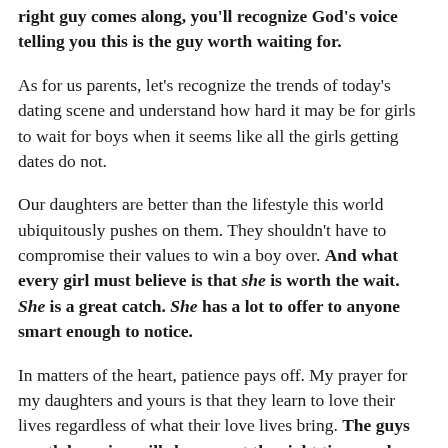right guy comes along, you'll recognize God's voice telling you this is the guy worth waiting for.
As for us parents, let's recognize the trends of today's dating scene and understand how hard it may be for girls to wait for boys when it seems like all the girls getting dates do not.
Our daughters are better than the lifestyle this world ubiquitously pushes on them. They shouldn't have to compromise their values to win a boy over. And what every girl must believe is that she is worth the wait. She is a great catch. She has a lot to offer to anyone smart enough to notice.
In matters of the heart, patience pays off. My prayer for my daughters and yours is that they learn to love their lives regardless of what their love lives bring. The guys worth knowing will show up at the right time, and